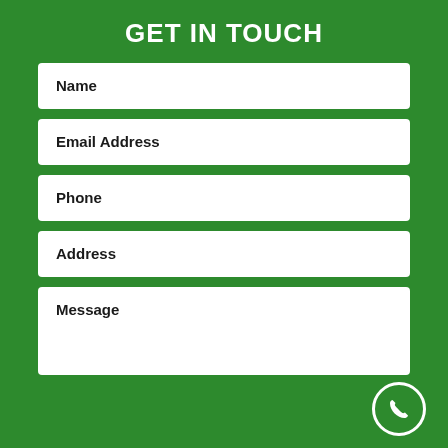GET IN TOUCH
Name
Email Address
Phone
Address
Message
[Figure (illustration): Green circular phone/call button icon in the bottom-right corner]